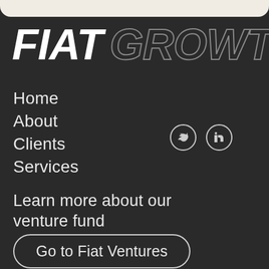FIAT GROWTH
Home
About
Clients
Services
[Figure (illustration): Twitter and LinkedIn social media icons in circles]
Learn more about our venture fund
Go to Fiat Ventures